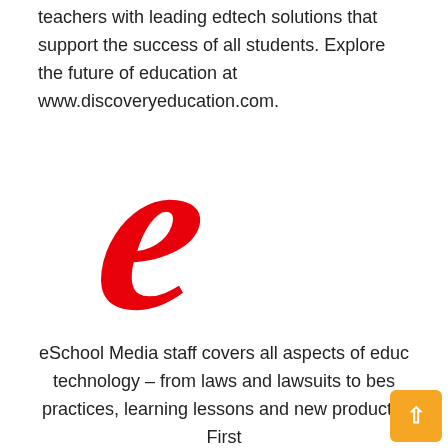teachers with leading edtech solutions that support the success of all students. Explore the future of education at www.discoveryeducation.com.
[Figure (logo): Large red italic cursive letter 'e' — Discovery Education logo]
eSchool Media staff covers all aspects of educ technology – from laws and lawsuits to bes practices, learning lessons and new products. First